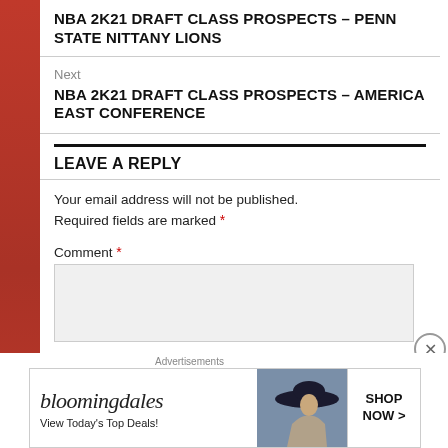NBA 2K21 DRAFT CLASS PROSPECTS – PENN STATE NITTANY LIONS
Next
NBA 2K21 DRAFT CLASS PROSPECTS – AMERICA EAST CONFERENCE
LEAVE A REPLY
Your email address will not be published. Required fields are marked *
Comment *
Advertisements
[Figure (other): Bloomingdale's advertisement banner showing logo, 'View Today's Top Deals!' text, woman with large hat, and 'SHOP NOW >' button]